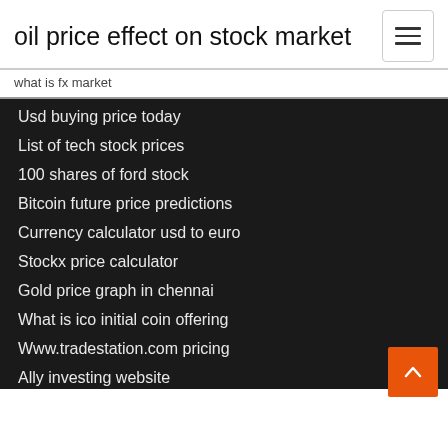oil price effect on stock market
what is fx market
Usd buying price today
List of tech stock prices
100 shares of ford stock
Bitcoin future price predictions
Currency calculator usd to euro
Stockx price calculator
Gold price graph in chennai
What is ico initial coin offering
Www.tradestation.com pricing
Ally investing website